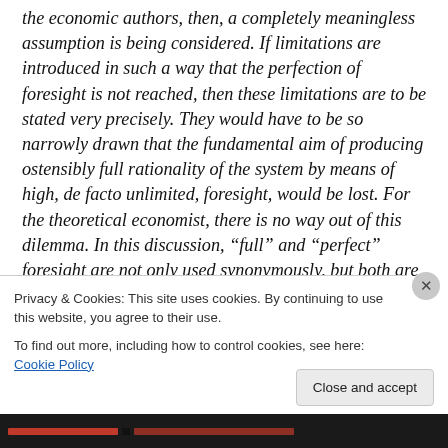the economic authors, then, a completely meaningless assumption is being considered. If limitations are introduced in such a way that the perfection of foresight is not reached, then these limitations are to be stated very precisely. They would have to be so narrowly drawn that the fundamental aim of producing ostensibly full rationality of the system by means of high, de facto unlimited, foresight, would be lost. For the theoretical economist, there is no way out of this dilemma. In this discussion, “full” and “perfect” foresight are not only used synonymously, but both are employed, moreover, in the
Privacy & Cookies: This site uses cookies. By continuing to use this website, you agree to their use.
To find out more, including how to control cookies, see here: Cookie Policy
Close and accept